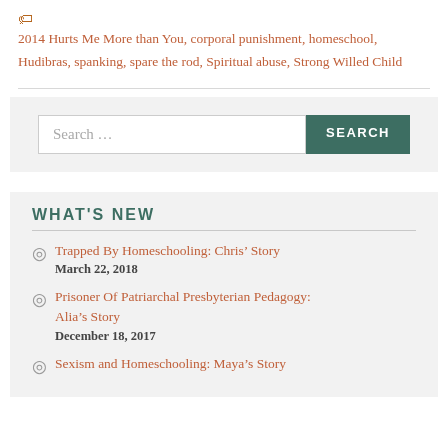🏷 2014 Hurts Me More than You, corporal punishment, homeschool, Hudibras, spanking, spare the rod, Spiritual abuse, Strong Willed Child
[Figure (other): Search bar with text 'Search ...' and a teal SEARCH button]
WHAT'S NEW
Trapped By Homeschooling: Chris' Story
March 22, 2018
Prisoner Of Patriarchal Presbyterian Pedagogy: Alia's Story
December 18, 2017
Sexism and Homeschooling: Maya's Story